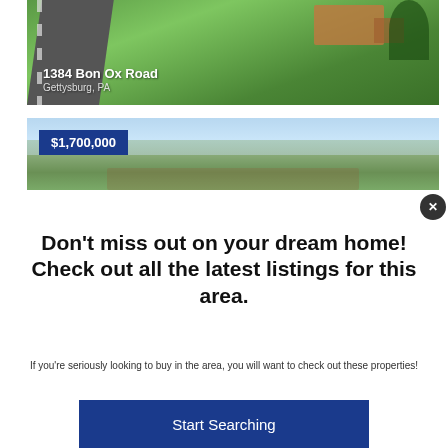[Figure (photo): Aerial photo of property at 1384 Bon Ox Road showing road, grass, and building rooftop]
1384 Bon Ox Road
Gettysburg, PA
[Figure (photo): Panoramic aerial photo showing mountains and valley landscape with price tag $1,700,000]
$1,700,000
Don't miss out on your dream home! Check out all the latest listings for this area.
If you're seriously looking to buy in the area, you will want to check out these properties!
Start Searching